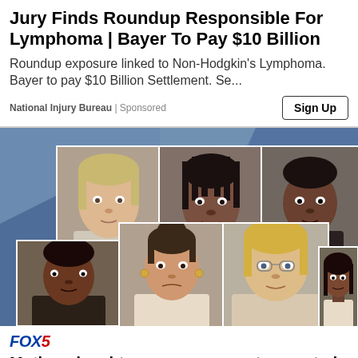Jury Finds Roundup Responsible For Lymphoma | Bayer To Pay $10 Billion
Roundup exposure linked to Non-Hodgkin's Lymphoma. Bayer to pay $10 Billion Settlement. Se...
National Injury Bureau | Sponsored
[Figure (photo): Grid of seven mugshot photos of suspects arranged in two rows on a blue background]
FOX5
Mother, daughter among suspects arrested in